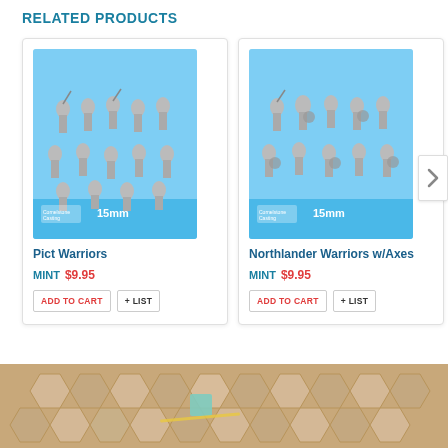RELATED PRODUCTS
[Figure (photo): Product image of Pict Warriors 15mm miniature figures on blue background]
Pict Warriors
MINT $9.95
ADD TO CART + LIST
[Figure (photo): Product image of Northlander Warriors w/Axes 15mm miniature figures on blue background]
Northlander Warriors w/Axes
MINT $9.95
ADD TO CART + LIST
[Figure (photo): Bottom photo of a board game with hexagonal tiles and a small blue game piece on a wooden surface]